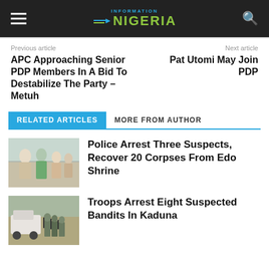INFORMATION NIGERIA
Previous article
Next article
APC Approaching Senior PDP Members In A Bid To Destabilize The Party – Metuh
Pat Utomi May Join PDP
RELATED ARTICLES   MORE FROM AUTHOR
[Figure (photo): Group of people standing outdoors]
Police Arrest Three Suspects, Recover 20 Corpses From Edo Shrine
[Figure (photo): Military troops with vehicles on a road]
Troops Arrest Eight Suspected Bandits In Kaduna